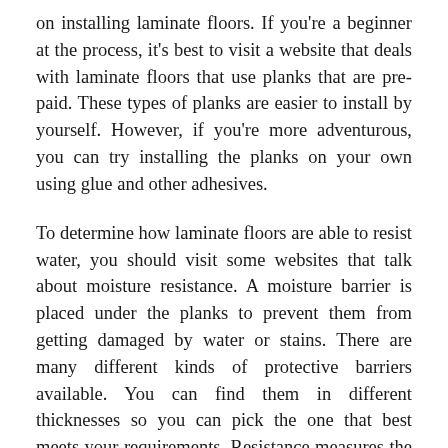on installing laminate floors. If you're a beginner at the process, it's best to visit a website that deals with laminate floors that use planks that are pre-paid. These types of planks are easier to install by yourself. However, if you're more adventurous, you can try installing the planks on your own using glue and other adhesives.
To determine how laminate floors are able to resist water, you should visit some websites that talk about moisture resistance. A moisture barrier is placed under the planks to prevent them from getting damaged by water or stains. There are many different kinds of protective barriers available. You can find them in different thicknesses so you can pick the one that best meets your requirements. Resistance measures the ability of laminate floors to withstand stains and moisture. In order to judge the effectiveness of the protection measure, you should